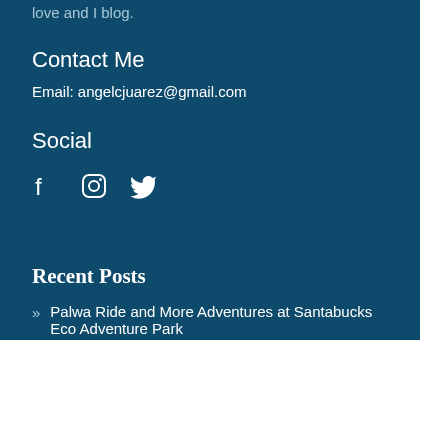love and I blog.
Contact Me
Email: angelcjuarez@gmail.com
Social
[Figure (illustration): Social media icons: Facebook, Instagram, Twitter]
Recent Posts
Palwa Ride and More Adventures at Santabucks Eco Adventure Park